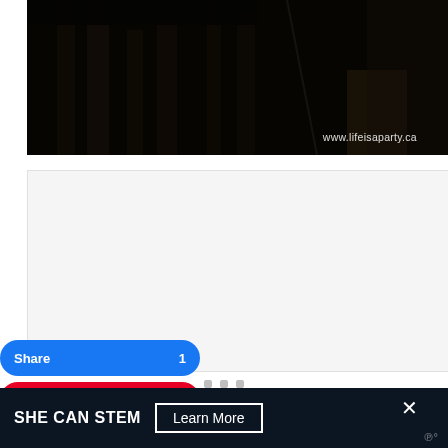[Figure (photo): Dark photo of chairs and table legs, dimly lit interior. Watermark text 'www.lifeisaparty.ca' in lower right corner.]
[Figure (other): Light gray empty advertisement placeholder box]
[Figure (other): Three small gray square pagination dots]
[Figure (infographic): Social share buttons: blue Share button with count 1, red Pin button with count 12, cyan Tweet button]
[Figure (infographic): Bottom dark banner ad: 'SHE CAN STEM' text with 'Learn More' button, close X icon, and logo in lower right]